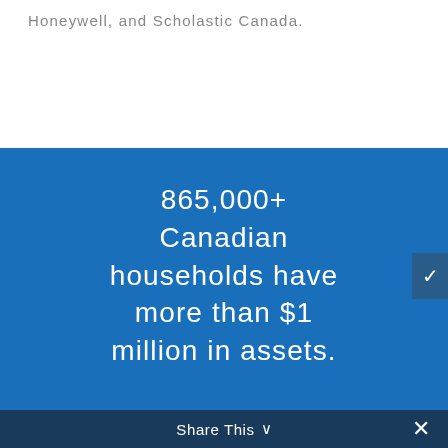Honeywell, and Scholastic Canada.
865,000+ Canadian households have more than $1 million in assets.
765000
Share This ∨